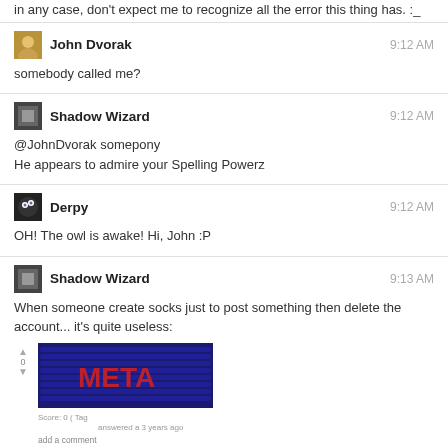in any case, don't expect me to recognize all the error this thing has. :_
John Dvorak
9:12 AM
somebody called me?
Shadow Wizard
9:12 AM
@JohnDvorak somepony
He appears to admire your Spelling Powerz
Derpy
9:12 AM
OH! The owl is awake! Hi, John :P
Shadow Wizard
9:13 AM
When someone create socks just to post something then delete the account... it's quite useless:
[Figure (screenshot): Screenshot of a post with blue background and red META text, with vote arrows and metadata]
[Figure (screenshot): Screenshot of a second post with blue background and pink/red line art, with vote arrows and metadata]